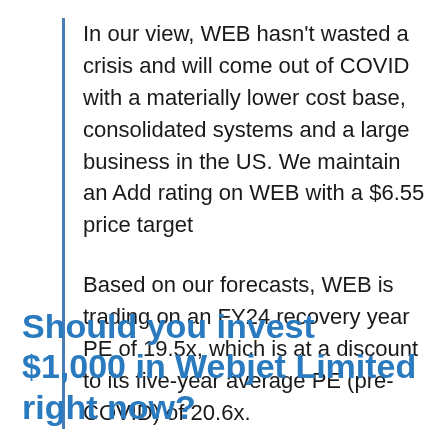In our view, WEB hasn't wasted a crisis and will come out of COVID with a materially lower cost base, consolidated systems and a large business in the US. We maintain an Add rating on WEB with a $6.55 price target
Based on our forecasts, WEB is trading on an FY24 recovery year PE of 19.5x, which is at a discount to its five-year average PE (pre-COVID) of 20.6x.
Should you invest $1,000 in Webjet Limited right now?